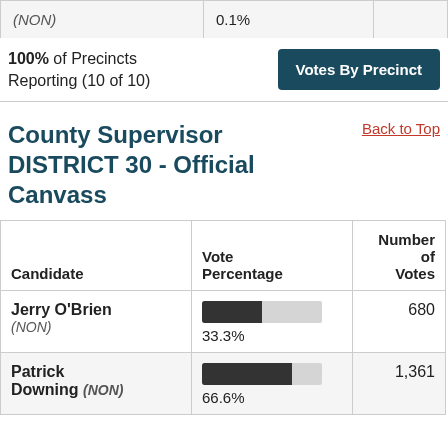|  |  |  |
| --- | --- | --- |
| (NON) | 0.1% |  |
100% of Precincts Reporting (10 of 10)
Votes By Precinct
County Supervisor DISTRICT 30 - Official Canvass
Back to Top
| Candidate | Vote Percentage | Number of Votes |
| --- | --- | --- |
| Jerry O'Brien (NON) | 33.3% | 680 |
| Patrick Downing (NON) | 66.6% | 1,361 |